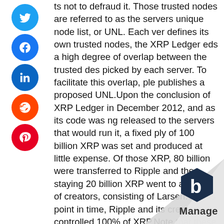[Figure (other): Social media sharing buttons sidebar: Twitter (blue circle), Facebook (blue circle), LinkedIn (dark blue circle), Reddit (orange circle), Pinterest (red circle)]
ts not to defraud it. Those trusted nodes are referred to as the servers unique node list, or UNL. Each ver defines its own trusted nodes, the XRP Ledger eds a high degree of overlap between the trusted des picked by each server. To facilitate this overlap, ple publishes a proposed UNL.Upon the conclusion of XRP Ledger in December 2012, and as its code was ng released to the servers that would run it, a fixed ply of 100 billion XRP was set and produced at little expense. Of those XRP, 80 billion were transferred to Ripple and the staying 20 billion XRP went to a group of creators, consisting of Larsen. At this point in time, Ripple and its creators controlled 100% of XRP.Note that these choices represent a compromise between the totally decentralized, peer-to-peer network that was imagined when Bitcoin (BTC) was first announced and a completely centralized network with a single on intermediary such as a conventional banks. In addition, Bitcoin was never developed or planned to be
[Figure (logo): Manage logo — dark blue hexagon with white 'b' letter — with 'Manage' text label, displayed on a folded page corner]